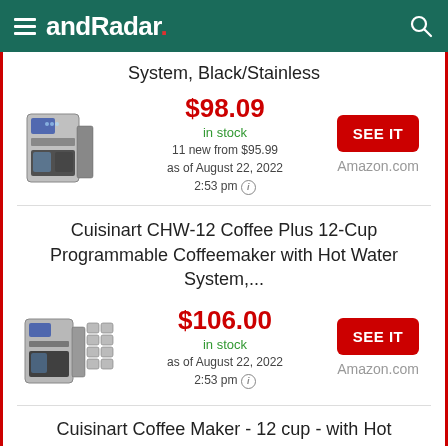andRadar.
System, Black/Stainless
$98.09 in stock 11 new from $95.99 as of August 22, 2022 2:53 pm
SEE IT Amazon.com
Cuisinart CHW-12 Coffee Plus 12-Cup Programmable Coffeemaker with Hot Water System,...
$106.00 in stock as of August 22, 2022 2:53 pm
SEE IT Amazon.com
Cuisinart Coffee Maker - 12 cup - with Hot